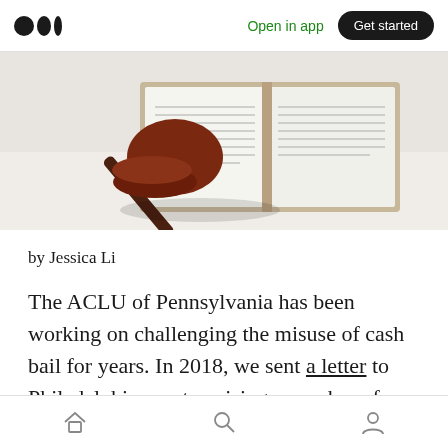Open in app | Get started
[Figure (photo): A wooden judge's gavel resting on its sound block beside an open book, shot from above on a white surface]
by Jessica Li
The ACLU of Pennsylvania has been working on challenging the misuse of cash bail for years. In 2018, we sent a letter to Philadelphia courts, raising a number of concerns based on court
Home | Search | Profile